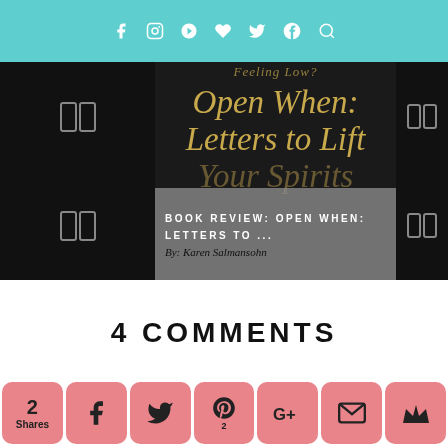Social media icon bar with icons: f (Facebook), camera (Instagram), Pinterest, heart, Twitter, G+, search
[Figure (photo): Book cover image: 'Open When: Letters to Lift Your Spirits' by Karen Salmansohn, displayed on dark/black background with book icon decorations on sides. An overlay text reads 'BOOK REVIEW: OPEN WHEN: LETTERS TO ...' and 'By: Karen Salmansohn']
4 COMMENTS
[Figure (infographic): Social sharing bar with pink/rose rounded buttons: '2 Shares', Facebook icon, Twitter icon, Pinterest icon (with '2' label), Google+ icon, email icon, crown/bookmark icon]